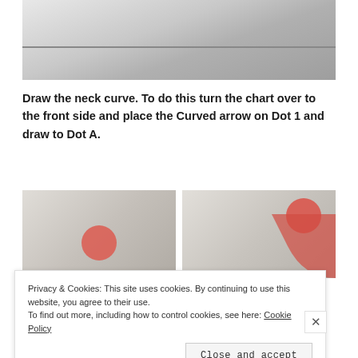[Figure (photo): Close-up photo of a ceiling or door edge showing a thin gap/line, light gray tones]
Draw the neck curve. To do this turn the chart over to the front side and place the Curved arrow on Dot 1 and draw to Dot A.
[Figure (photo): Two side-by-side photos of sewing pattern charts/tools with red circular stickers/labels]
Privacy & Cookies: This site uses cookies. By continuing to use this website, you agree to their use.
To find out more, including how to control cookies, see here: Cookie Policy
Close and accept